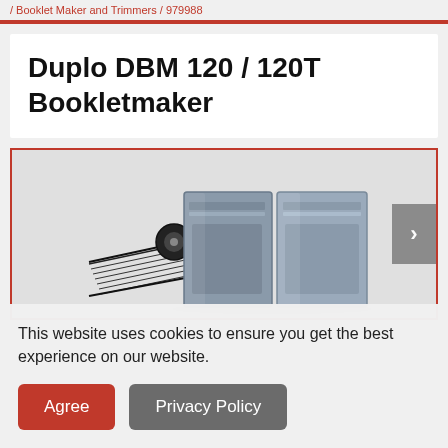Booklet Maker and Trimmers / 979988
Duplo DBM 120 / 120T Bookletmaker
[Figure (photo): Photo of the Duplo DBM 120 / 120T Bookletmaker machine with paper feed tray on the left and two large grey rectangular units, with a forward navigation arrow on the right side of the carousel.]
This website uses cookies to ensure you get the best experience on our website.
Agree
Privacy Policy